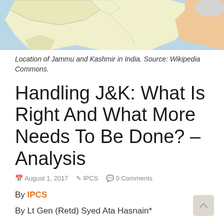[Figure (map): Map showing location of Jammu and Kashmir in India, with surrounding regions. Landmass in light yellow/green, water bodies in light blue, neighboring regions in light orange/peach.]
Location of Jammu and Kashmir in India. Source: Wikipedia Commons.
Handling J&K: What Is Right And What More Needs To Be Done? – Analysis
August 1, 2017   IPCS   0 Comments
By IPCS
By Lt Gen (Retd) Syed Ata Hasnain*
Advertisement